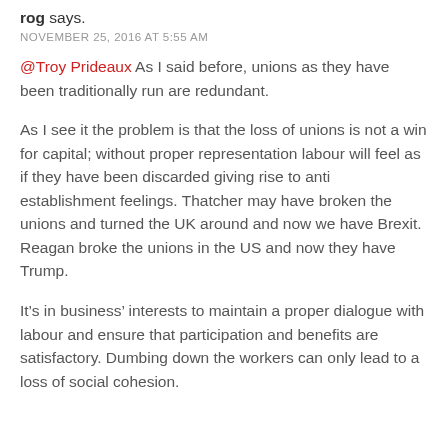rog says.
NOVEMBER 25, 2016 AT 5:55 AM
@Troy Prideaux As I said before, unions as they have been traditionally run are redundant.
As I see it the problem is that the loss of unions is not a win for capital; without proper representation labour will feel as if they have been discarded giving rise to anti establishment feelings. Thatcher may have broken the unions and turned the UK around and now we have Brexit. Reagan broke the unions in the US and now they have Trump.
It’s in business’ interests to maintain a proper dialogue with labour and ensure that participation and benefits are satisfactory. Dumbing down the workers can only lead to a loss of social cohesion.